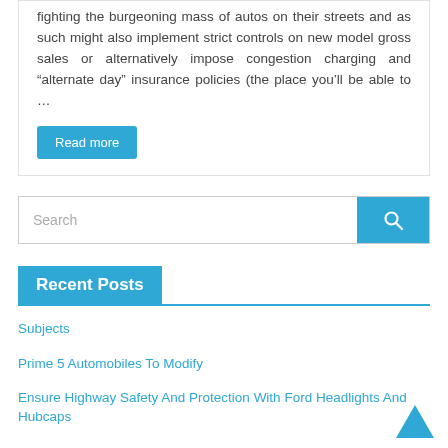fighting the burgeoning mass of autos on their streets and as such might also implement strict controls on new model gross sales or alternatively impose congestion charging and “alternate day” insurance policies (the place you’ll be able to …
Read more
Search
Recent Posts
Subjects
Prime 5 Automobiles To Modify
Ensure Highway Safety And Protection With Ford Headlights And Hubcaps